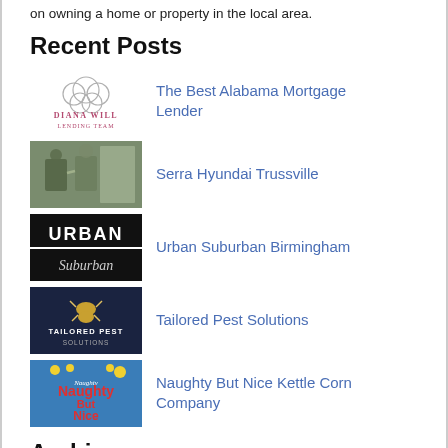on owning a home or property in the local area.
Recent Posts
The Best Alabama Mortgage Lender
Serra Hyundai Trussville
Urban Suburban Birmingham
Tailored Pest Solutions
Naughty But Nice Kettle Corn Company
Archives